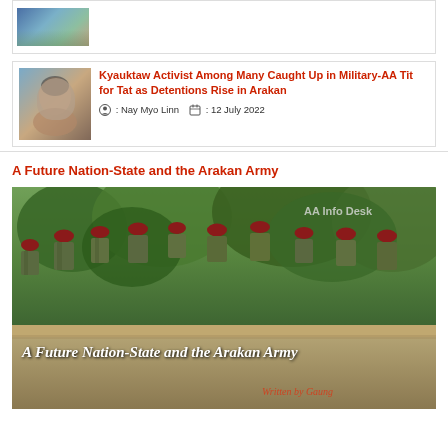[Figure (photo): Partial thumbnail image of a group scene, partially cut off at top]
[Figure (photo): Thumbnail portrait photo of a person]
Kyauktaw Activist Among Many Caught Up in Military-AA Tit for Tat as Detentions Rise in Arakan
: Nay Myo Linn   : 12 July 2022
A Future Nation-State and the Arakan Army
[Figure (photo): Photo of Arakan Army soldiers wearing camouflage uniforms and red berets, viewed from behind, in a jungle/forest setting. Text overlay reads 'A Future Nation-State and the Arakan Army' and 'Written by Gaung'. Watermark: 'AA Info Desk'.]